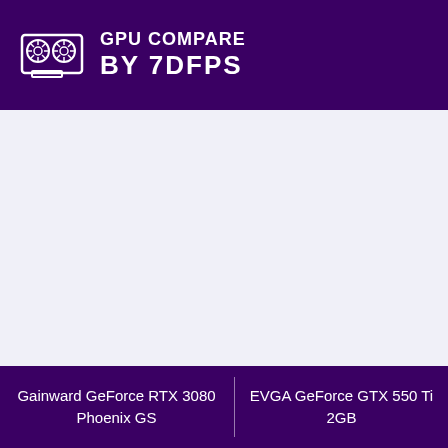GPU COMPARE BY 7DFPS
Gainward GeForce RTX 3080 Phoenix GS | EVGA GeForce GTX 550 Ti 2GB